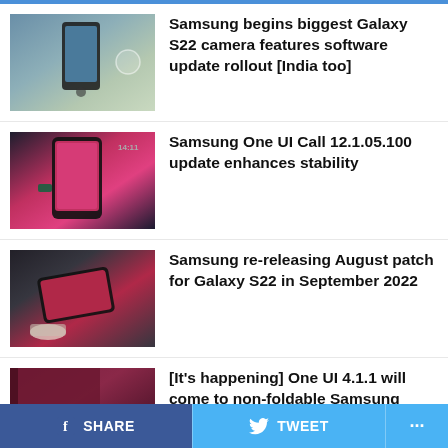Samsung begins biggest Galaxy S22 camera features software update rollout [India too]
Samsung One UI Call 12.1.05.100 update enhances stability
Samsung re-releasing August patch for Galaxy S22 in September 2022
[It's happening] One UI 4.1.1 will come to non-foldable Samsung phones?
Samsung One UI Device Care 13.0.25.4
SHARE  TWEET  ...